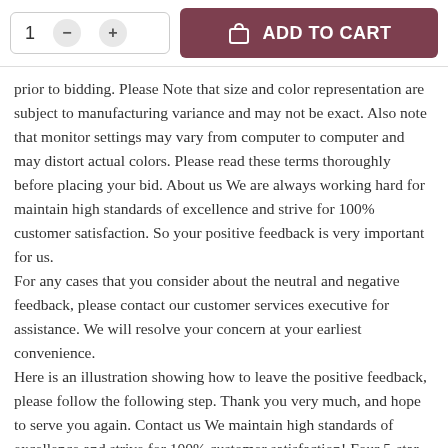[Figure (screenshot): E-commerce product page top bar with quantity selector showing '1' with minus and plus buttons, and a dark red 'ADD TO CART' button with shopping bag icon]
prior to bidding. Please Note that size and color representation are subject to manufacturing variance and may not be exact. Also note that monitor settings may vary from computer to computer and may distort actual colors. Please read these terms thoroughly before placing your bid. About us We are always working hard for maintain high standards of excellence and strive for 100% customer satisfaction. So your positive feedback is very important for us. For any cases that you consider about the neutral and negative feedback, please contact our customer services executive for assistance. We will resolve your concern at your earliest convenience. Here is an illustration showing how to leave the positive feedback, please follow the following step. Thank you very much, and hope to serve you again. Contact us We maintain high standards of excellence and strive for 100% customer satisfaction! Four 5-star feedback with positive comment is very